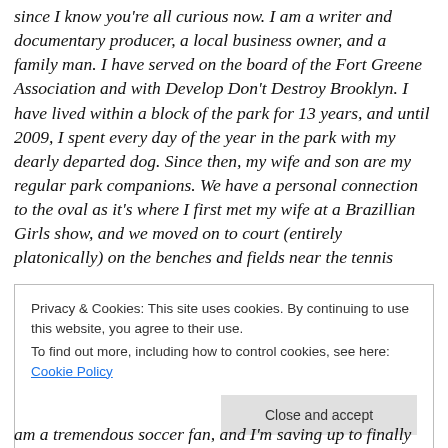since I know you're all curious now. I am a writer and documentary producer, a local business owner, and a family man. I have served on the board of the Fort Greene Association and with Develop Don't Destroy Brooklyn. I have lived within a block of the park for 13 years, and until 2009, I spent every day of the year in the park with my dearly departed dog. Since then, my wife and son are my regular park companions. We have a personal connection to the oval as it's where I first met my wife at a Brazillian Girls show, and we moved on to court (entirely platonically) on the benches and fields near the tennis
Privacy & Cookies: This site uses cookies. By continuing to use this website, you agree to their use.
To find out more, including how to control cookies, see here: Cookie Policy
[Close and accept]
am a tremendous soccer fan, and I'm saving up to finally